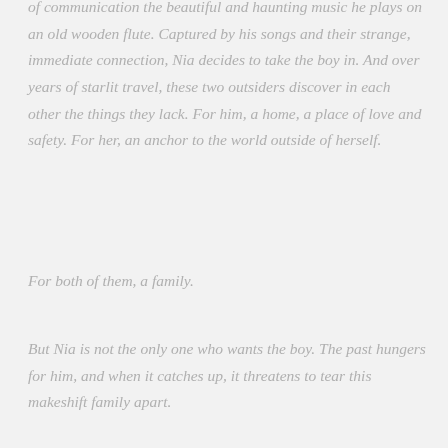of communication the beautiful and haunting music he plays on an old wooden flute. Captured by his songs and their strange, immediate connection, Nia decides to take the boy in. And over years of starlit travel, these two outsiders discover in each other the things they lack. For him, a home, a place of love and safety. For her, an anchor to the world outside of herself.
For both of them, a family.
But Nia is not the only one who wants the boy. The past hungers for him, and when it catches up, it threatens to tear this makeshift family apart.